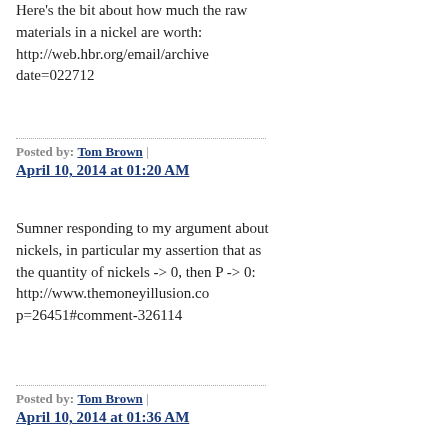Here's the bit about how much the raw materials in a nickel are worth: http://web.hbr.org/email/archive date=022712
Posted by: Tom Brown | April 10, 2014 at 01:20 AM
Sumner responding to my argument about nickels, in particular my assertion that as the quantity of nickels -> 0, then P -> 0: http://www.themoneyillusion.co p=26451#comment-326114
Posted by: Tom Brown | April 10, 2014 at 01:36 AM